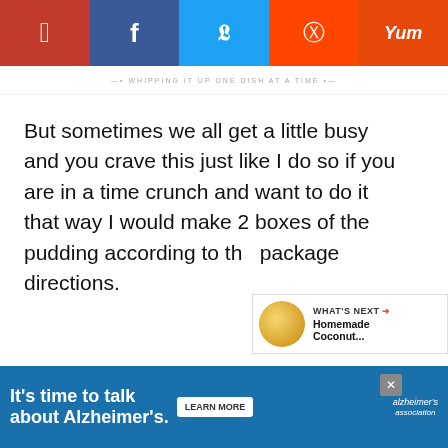Pinterest | Facebook | Twitter | Reddit | Yum
WHIPPING IT UP ONE DISH AT A TIME
But sometimes we all get a little busy and you crave this just like I do so if you are in a time crunch and want to do it that way I would make 2 boxes of the pudding according to the package directions.
Now this banana pudding is perfect all year round. It seems that bananas aren't one of those seasonal fruits like watermelon or
[Figure (screenshot): What's Next widget showing Homemade Coconut... article with circular food image]
[Figure (infographic): Advertisement banner: It's time to talk about Alzheimer's. with LEARN MORE button and Alzheimer's Association logo]